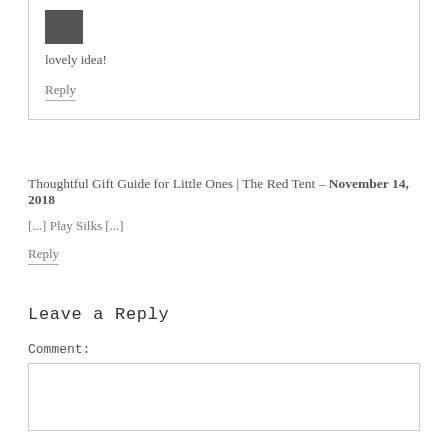[Figure (photo): Small avatar/profile image, dark tones]
lovely idea!
Reply
Thoughtful Gift Guide for Little Ones | The Red Tent – November 14, 2018
[...] Play Silks [...]
Reply
Leave a Reply
Comment: